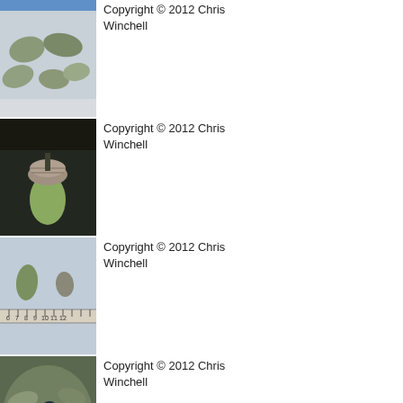[Figure (photo): Photo of leaves laid flat against a light background with a ruler visible at top]
Copyright © 2012 Chris Winchell
[Figure (photo): Close-up photo of an acorn with textured cap on a plant stem]
Copyright © 2012 Chris Winchell
[Figure (photo): Photo of two acorns/seeds beside a ruler for scale]
Copyright © 2012 Chris Winchell
[Figure (photo): Photo of plant with foliage and berries]
Copyright © 2012 Chris Winchell
[Figure (photo): Landscape photo of a shrubby plant in arid terrain with hills and sky]
Copyright © 2012 Chris Winchell
[Figure (photo): Close-up photo of plant branches with leaves and possibly fruit]
Copyright © 2012 Chris Winchell